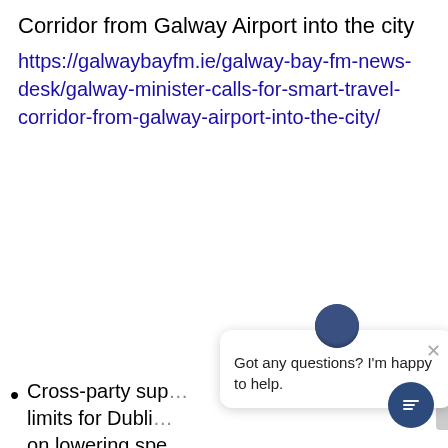Corridor from Galway Airport into the city
https://galwaybayfm.ie/galway-bay-fm-news-desk/galway-minister-calls-for-smart-travel-corridor-from-galway-airport-into-the-city/
Cross-party support ... limits for Dublin ... on lowering speed ... begin this month https://www.irishtimes.com/news/en...ne-party-support-for-30km-h-speed-limit...for-dublin-1.4269891?mode=amp
[Figure (other): Chat widget overlay with avatar, close button, and message: Got any questions? I'm happy to help.]